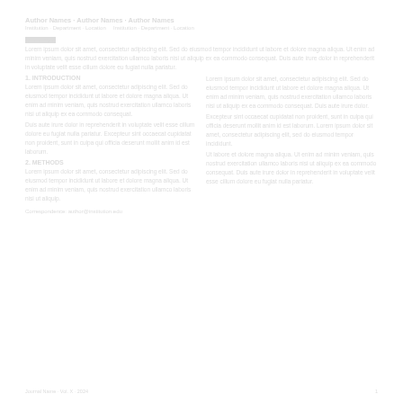Authors and affiliations (faint/white — page appears nearly blank)
This page appears to be a scientific paper with very light/white text that is almost invisible. The content includes author names, affiliations, abstract, and body text in a two-column layout.
Footer with page information